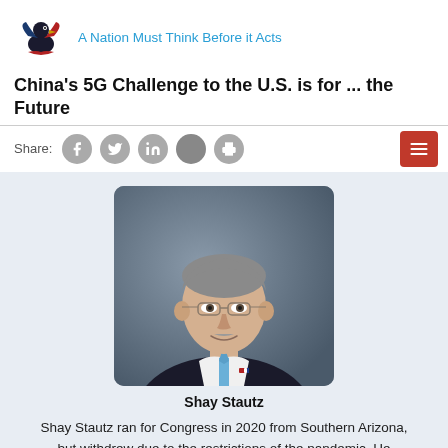A Nation Must Think Before it Acts
China's 5G Challenge to the U.S. is for ... the Future
Share:
[Figure (photo): Professional headshot of Shay Stautz, a man with grey hair and glasses wearing a dark suit with a blue tie and American flag pin]
Shay Stautz
Shay Stautz ran for Congress in 2020 from Southern Arizona, but withdrew due to the restrictions of the pandemic. He